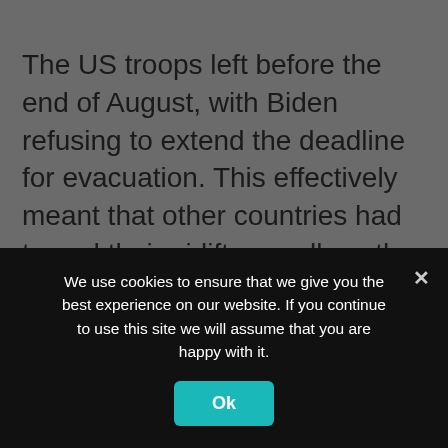The US troops left before the end of August, with Biden refusing to extend the deadline for evacuation. This effectively meant that other countries had to end their airlift as well, as the airport could not be held without the American military. The result is that hundreds of those in danger from the Islamists had to be left behind and, at the moment, have little chance of getting out.
The evacuations ended with horrific violence: a suicide bombing by Isis-K that killed 170 people, including 13 US troops. The killings were a
We use cookies to ensure that we give you the best experience on our website. If you continue to use this site we will assume that you are happy with it.